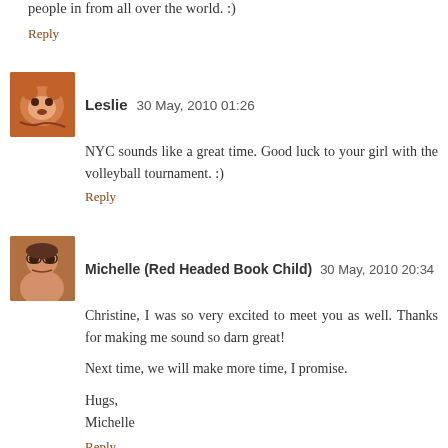people in from all over the world. :)
Reply
Leslie  30 May, 2010 01:26
NYC sounds like a great time. Good luck to your girl with the volleyball tournament. :)
Reply
Michelle (Red Headed Book Child)  30 May, 2010 20:34
Christine, I was so very excited to meet you as well. Thanks for making me sound so darn great!

Next time, we will make more time, I promise.

Hugs,
Michelle
Reply